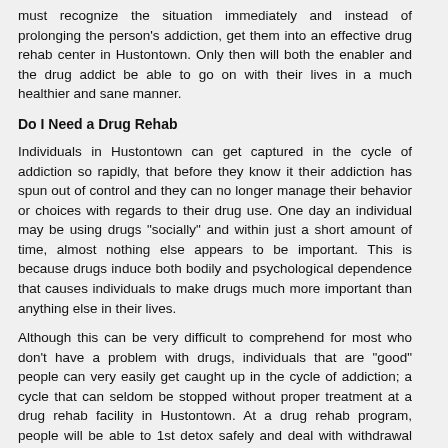must recognize the situation immediately and instead of prolonging the person's addiction, get them into an effective drug rehab center in Hustontown. Only then will both the enabler and the drug addict be able to go on with their lives in a much healthier and sane manner.
Do I Need a Drug Rehab
Individuals in Hustontown can get captured in the cycle of addiction so rapidly, that before they know it their addiction has spun out of control and they can no longer manage their behavior or choices with regards to their drug use. One day an individual may be using drugs "socially" and within just a short amount of time, almost nothing else appears to be important. This is because drugs induce both bodily and psychological dependence that causes individuals to make drugs much more important than anything else in their lives.
Although this can be very difficult to comprehend for most who don't have a problem with drugs, individuals that are "good" people can very easily get caught up in the cycle of addiction; a cycle that can seldom be stopped without proper treatment at a drug rehab facility in Hustontown. At a drug rehab program, people will be able to 1st detox safely and deal with withdrawal symptoms with the assistance of specialists and medical staff. More importantly, they will be able to handle things which brought on their drug use including all psychological and emotional issues. Layer by layer these issues can be resolved, so that there is no possibility the person will fall prey to drug abuse once again in the future.
Drug Rehab and Detoxification for Withdrawal Symptoms
One of the reasons drug addicted people find it extremely hard to stop using drugs once they start using them, is because of physical and